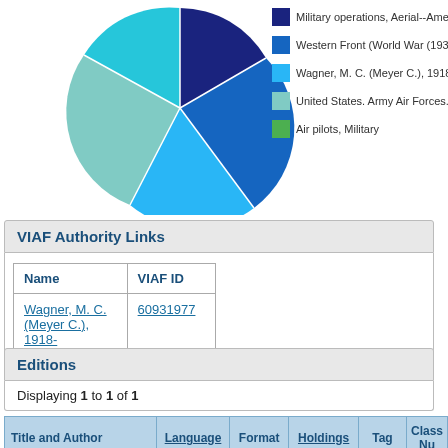[Figure (pie-chart): Subject distribution]
VIAF Authority Links
| Name | VIAF ID |
| --- | --- |
| Wagner, M. C. (Meyer C.), 1918- | 60931977 |
Editions
Displaying 1 to 1 of 1
| Title and Author | Language | Format | Holdings | Tag | Class Nu |
| --- | --- | --- | --- | --- | --- |
| Flying blind by Wagner |  |  |  | 050 ✓LC | D790 |
|  |  |  |  | 082 | 940.5449730 |